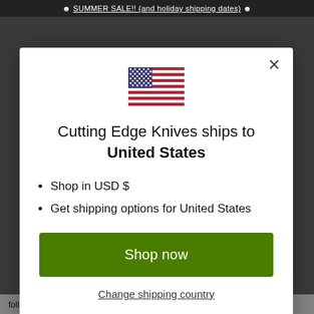☻ SUMMER SALE!! (and holiday shipping dates) ☻
[Figure (illustration): US flag emoji icon]
Cutting Edge Knives ships to United States
Shop in USD $
Get shipping options for United States
Shop now
Change shipping country
follow @Cuttingedgeknives on Instagram.